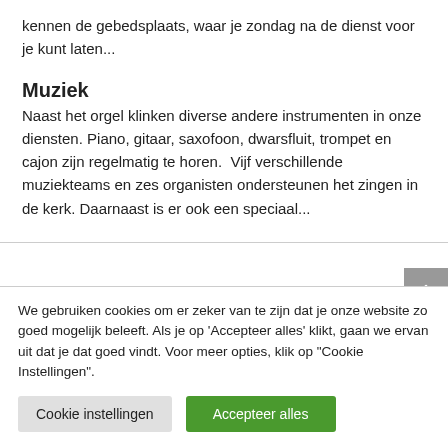kennen de gebedsplaats, waar je zondag na de dienst voor je kunt laten...
Muziek
Naast het orgel klinken diverse andere instrumenten in onze diensten. Piano, gitaar, saxofoon, dwarsfluit, trompet en cajon zijn regelmatig te horen.  Vijf verschillende muziekteams en zes organisten ondersteunen het zingen in de kerk. Daarnaast is er ook een speciaal...
We gebruiken cookies om er zeker van te zijn dat je onze website zo goed mogelijk beleeft. Als je op 'Accepteer alles' klikt, gaan we ervan uit dat je dat goed vindt. Voor meer opties, klik op "Cookie Instellingen".
Cookie instellingen
Accepteer alles